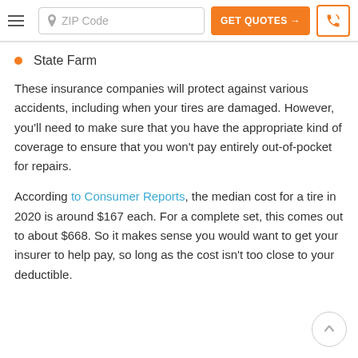ZIP Code | GET QUOTES → | phone icon
State Farm
These insurance companies will protect against various accidents, including when your tires are damaged. However, you'll need to make sure that you have the appropriate kind of coverage to ensure that you won't pay entirely out-of-pocket for repairs.
According to Consumer Reports, the median cost for a tire in 2020 is around $167 each. For a complete set, this comes out to about $668. So it makes sense you would want to get your insurer to help pay, so long as the cost isn't too close to your deductible.